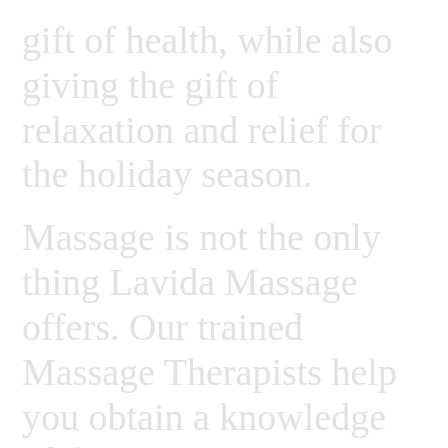gift of health, while also giving the gift of relaxation and relief for the holiday season.
Massage is not the only thing Lavida Massage offers. Our trained Massage Therapists help you obtain a knowledge of the various massage techniques and products to use or purchase to continue a personalized healthy routine in the comfort of home. In addition to the education and health advisement our licensed therapists from our commitment to